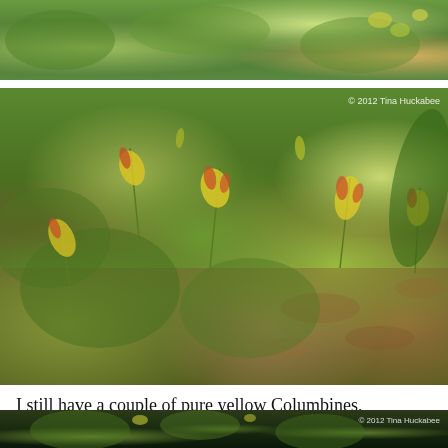[Figure (photo): Top cropped photo showing green leafy plants with yellow-green columbine flowers and foliage, partial view]
[Figure (photo): Main photo of wild columbine plants (Aquilegia) with yellow and red-tipped drooping flowers growing among green lobed leaves and brown leaf litter on the ground. Watermark: © 2012 Tina Huckabee]
I still have a couple of pure yellow Columbines,
[Figure (photo): Bottom partial photo showing dark background with green plant foliage, partially cropped. Watermark: © 2012 Tina Huckabee]